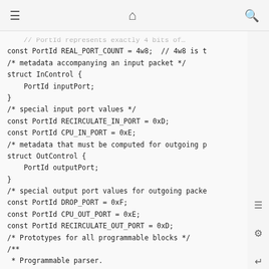≡  🏠  🔍
const PortId REAL_PORT_COUNT = 4w8;  // 4w8 is t
/* metadata accompanying an input packet */
struct InControl {
    PortId inputPort;
}
/* special input port values */
const PortId RECIRCULATE_IN_PORT = 0xD;
const PortId CPU_IN_PORT = 0xE;
/* metadata that must be computed for outgoing p
struct OutControl {
    PortId outputPort;
}
/* special output port values for outgoing packe
const PortId DROP_PORT = 0xF;
const PortId CPU_OUT_PORT = 0xE;
const PortId RECIRCULATE_OUT_PORT = 0xD;
/* Prototypes for all programmable blocks */
/**
 * Programmable parser.
 * @param <H> type of headers; defined by user
 * @param b input packet
 * @param parsedHeaders headers constructed by p